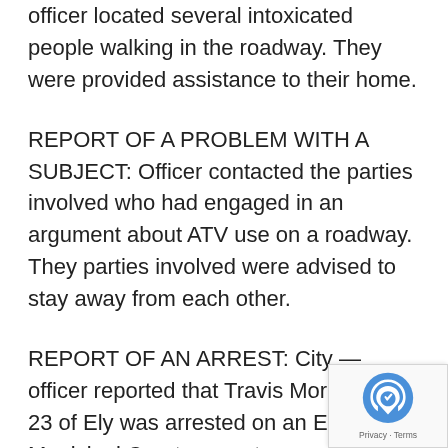officer located several intoxicated people walking in the roadway. They were provided assistance to their home.
REPORT OF A PROBLEM WITH A SUBJECT: Officer contacted the parties involved who had engaged in an argument about ATV use on a roadway. They parties involved were advised to stay away from each other.
REPORT OF AN ARREST: City — officer reported that Travis Morrison age 23 of Ely was arrested on an Ely Municipal Court warrant.
REPORT OF A DOG AT LARGE: City — the dog was taken to the Ely Dog Pound.